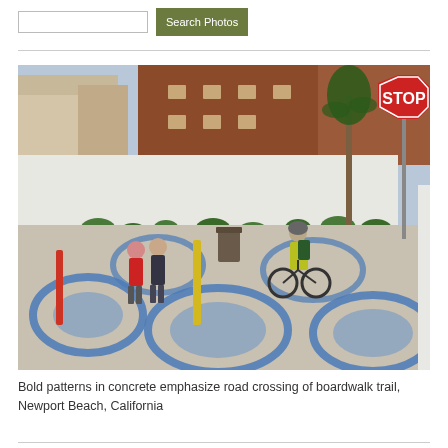[Figure (other): Search box and Search Photos button at the top of a photo search interface]
[Figure (photo): A cyclist wearing a yellow jacket and helmet rides along a beachside boardwalk trail in Newport Beach, California. Two pedestrians walk ahead. Blue circular painted patterns on the concrete pavement emphasize a road crossing. A STOP sign is visible on the right side. Buildings and palm trees line the path.]
Bold patterns in concrete emphasize road crossing of boardwalk trail, Newport Beach, California